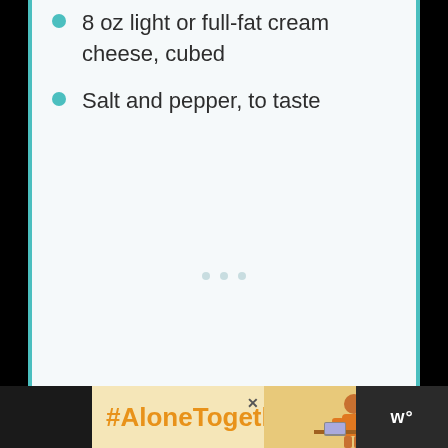8 oz light or full-fat cream cheese, cubed
Salt and pepper, to taste
[Figure (other): Advertisement banner: '#AloneTogether' text in orange on light yellow background with a woman in kitchen photo, close button, and 'w°' logo on dark background]